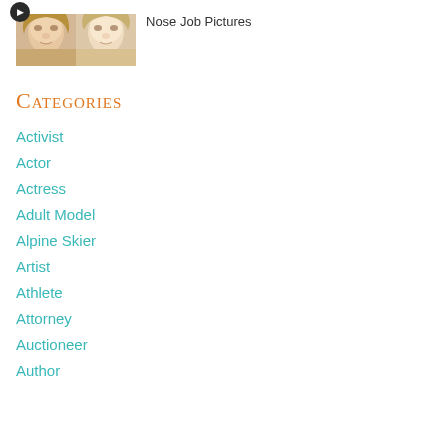[Figure (photo): Thumbnail showing two female faces side by side, with a dark circular icon in the top-left corner]
Nose Job Pictures
Categories
Activist
Actor
Actress
Adult Model
Alpine Skier
Artist
Athlete
Attorney
Auctioneer
Author